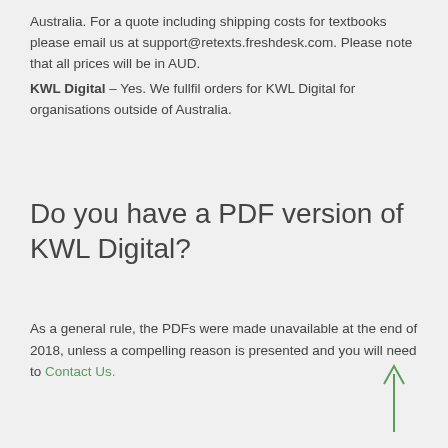Australia. For a quote including shipping costs for textbooks please email us at support@retexts.freshdesk.com. Please note that all prices will be in AUD. KWL Digital – Yes. We fullfil orders for KWL Digital for organisations outside of Australia.
Do you have a PDF version of KWL Digital?
As a general rule, the PDFs were made unavailable at the end of 2018, unless a compelling reason is presented and you will need to Contact Us.